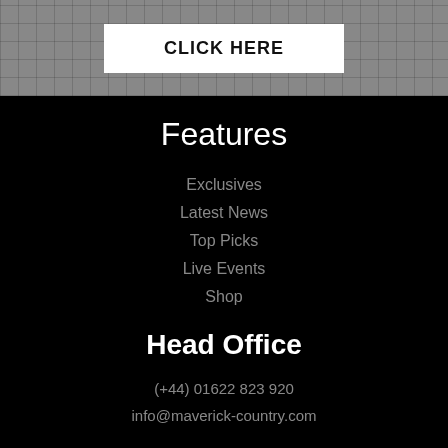[Figure (photo): Grayscale background photo of a building or scaffolding structure with a white 'CLICK HERE' button overlaid in the center]
Features
Exclusives
Latest News
Top Picks
Live Events
Shop
Head Office
(+44) 01622 823 920
info@maverick-country.com